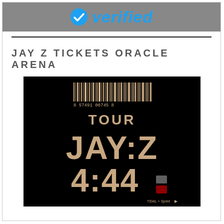[Figure (logo): Verified badge logo with blue checkmark circle and italic bold 'verified' text in Twitter blue color on gray background]
JAY Z TICKETS ORACLE ARENA
[Figure (photo): JAY-Z 4:44 Tour concert ticket/album art on black background with barcode number 8 57491 00745 8, text 'TOUR', 'JAY:Z', '4:44', TIDAL + Sprint logos, and sponsor icons in tan/gold color]